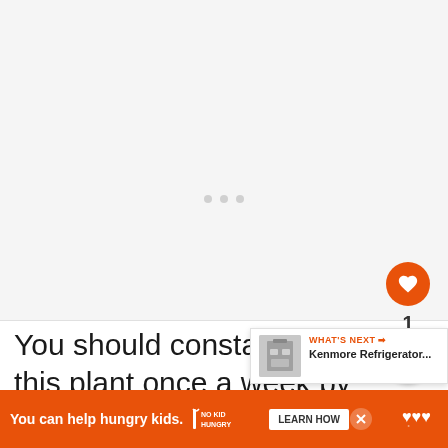[Figure (other): Large blank/loading image area at top of article page]
You should constantly water this plant once a week by rinsing the plant and then using the drip dry method. Also, needs pots!
[Figure (screenshot): What's Next panel showing Kenmore Refrigerator... with thumbnail image]
[Figure (other): Advertisement banner: You can help hungry kids. No Kid Hungry. LEARN HOW]